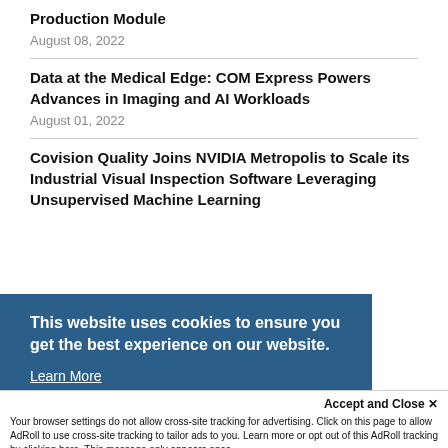Production Module
August 08, 2022
Data at the Medical Edge: COM Express Powers Advances in Imaging and AI Workloads
August 01, 2022
Covision Quality Joins NVIDIA Metropolis to Scale its Industrial Visual Inspection Software Leveraging Unsupervised Machine Learning
This website uses cookies to ensure you get the best experience on our website. Learn More
Accept and Close ✕
Your browser settings do not allow cross-site tracking for advertising. Click on this page to allow AdRoll to use cross-site tracking to tailor ads to you. Learn more or opt out of this AdRoll tracking by clicking here. This message only appears once.